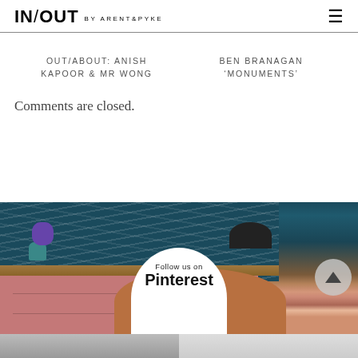IN/OUT BY ARENT&PYKE
OUT/ABOUT: ANISH KAPOOR & MR WONG
BEN BRANAGAN 'MONUMENTS'
Comments are closed.
[Figure (photo): Interior design photo showing a styled desk with pink drawers, wooden top, teal wallpaper with botanical print, orange chair, black lamp, teal vase with purple flowers. Overlay shows 'Follow us on Pinterest' in a white half-circle bubble, and a scroll-to-top button.]